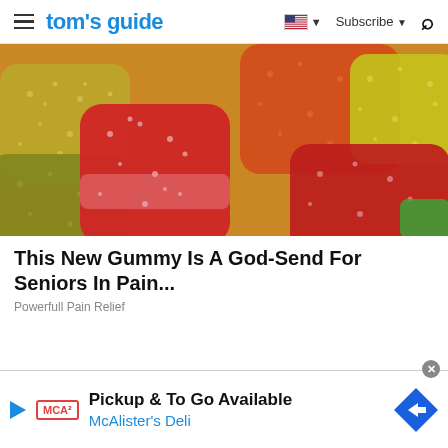tom's guide | Subscribe
[Figure (photo): Close-up photo of colorful sugar-coated gummy candies in red, orange, yellow, and green colors]
This New Gummy Is A God-Send For Seniors In Pain...
Powerfull Pain Relief
[Figure (infographic): Advertisement banner: Pickup & To Go Available — McAlister's Deli, with McAlister's logo and a blue navigation arrow icon]